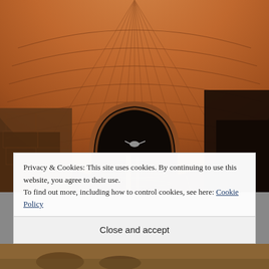[Figure (photo): Interior of a brick-vaulted tunnel or underground passage. The ceiling shows radiating red/orange brick arches. Through a rounded archway in the background, dark water is visible with reflections. The walls are rough stone and dark with moisture. The viewpoint is from within the tunnel looking through the arch.]
Privacy & Cookies: This site uses cookies. By continuing to use this website, you agree to their use.
To find out more, including how to control cookies, see here: Cookie Policy
Close and accept